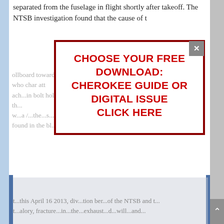separated from the fuselage in flight shortly after takeoff. The NTSB investigation found that the cause of t...
[Figure (screenshot): A modal overlay popup with a dark red border and close button. The popup contains bold red uppercase text reading: CHOOSE YOUR FREE DOWNLOAD: CHEROKEE GUIDE OR DIGITAL ISSUE CLICK HERE. Background shows partially obscured article text and a faded photograph of an aircraft.]
t...his April 16 2013, div...tion ber...of the NTSB and t...alory, fracture...in...the...exhaust...d...will...and...